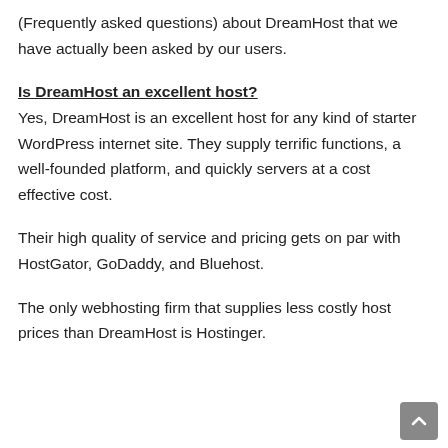(Frequently asked questions) about DreamHost that we have actually been asked by our users.
Is DreamHost an excellent host?
Yes, DreamHost is an excellent host for any kind of starter WordPress internet site. They supply terrific functions, a well-founded platform, and quickly servers at a cost effective cost.
Their high quality of service and pricing gets on par with HostGator, GoDaddy, and Bluehost.
The only webhosting firm that supplies less costly host prices than DreamHost is Hostinger.